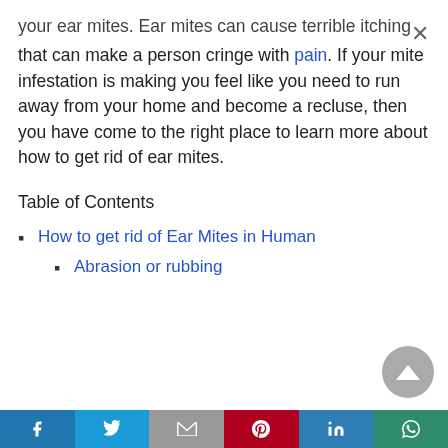your ear mites. Ear mites can cause terrible itching that can make a person cringe with pain. If your mite infestation is making you feel like you need to run away from your home and become a recluse, then you have come to the right place to learn more about how to get rid of ear mites.
Table of Contents
How to get rid of Ear Mites in Human
Abrasion or rubbing